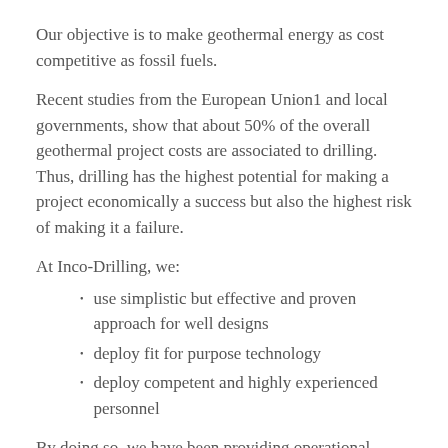Our objective is to make geothermal energy as cost competitive as fossil fuels.
Recent studies from the European Union1 and local governments, show that about 50% of the overall geothermal project costs are associated to drilling. Thus, drilling has the highest potential for making a project economically a success but also the highest risk of making it a failure.
At Inco-Drilling, we:
use simplistic but effective and proven approach for well designs
deploy fit for purpose technology
deploy competent and highly experienced personnel
By doing so, we have been providing operational excellence to our customers;  making the difference towards the positive development of geothermal energy.
Gas caverns are used to store energy. Cities or companies use